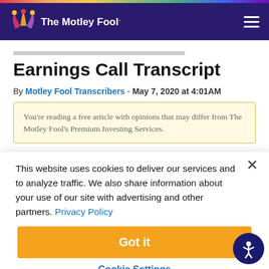The Motley Fool
Earnings Call Transcript
By Motley Fool Transcribers - May 7, 2020 at 4:01AM
You’re reading a free article with opinions that may differ from The Motley Fool’s Premium Investing Services.
This website uses cookies to deliver our services and to analyze traffic. We also share information about your use of our site with advertising and other partners. Privacy Policy
Got it
Cookie Settings